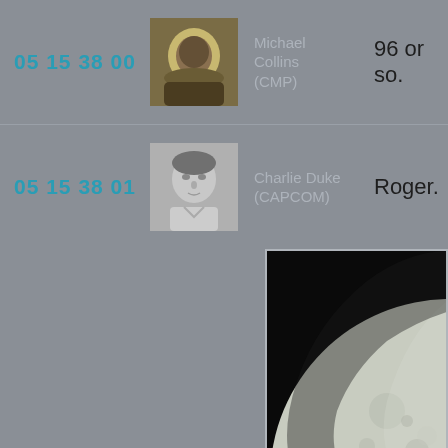05 15 38 00
[Figure (photo): Portrait photo of Michael Collins in spacesuit helmet]
Michael Collins (CMP)
96 or so.
05 15 38 01
[Figure (photo): Black and white portrait photo of Charlie Duke]
Charlie Duke (CAPCOM)
Roger.
[Figure (photo): Photograph of the Moon surface showing craters against black space background]